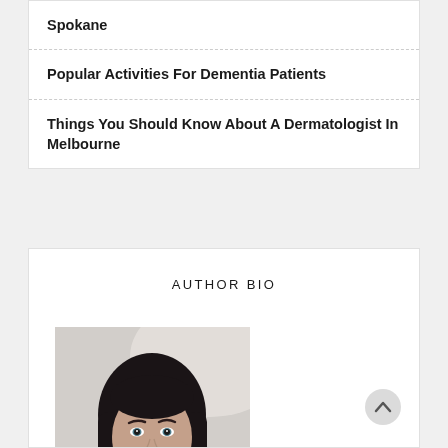Spokane
Popular Activities For Dementia Patients
Things You Should Know About A Dermatologist In Melbourne
AUTHOR BIO
[Figure (photo): Portrait photo of a young woman with long dark hair, hand resting near her neck, light background.]